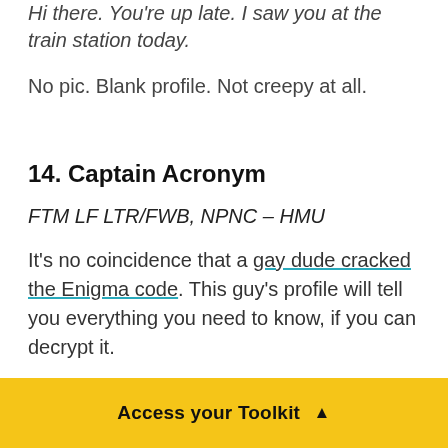Hi there. You're up late. I saw you at the train station today.
No pic. Blank profile. Not creepy at all.
14. Captain Acronym
FTM LF LTR/FWB, NPNC – HMU
It's no coincidence that a gay dude cracked the Enigma code. This guy's profile will tell you everything you need to know, if you can decrypt it.
Access your Toolkit ▲